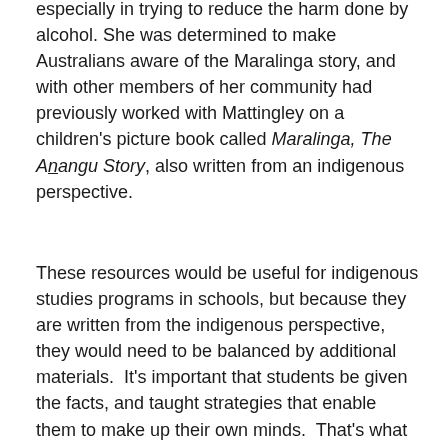especially in trying to reduce the harm done by alcohol. She was determined to make Australians aware of the Maralinga story, and with other members of her community had previously worked with Mattingley on a children's picture book called Maralinga, The Anangu Story, also written from an indigenous perspective.
These resources would be useful for indigenous studies programs in schools, but because they are written from the indigenous perspective, they would need to be balanced by additional materials.  It's important that students be given the facts, and taught strategies that enable them to make up their own minds.  That's what history is about.  So while I myself am strongly opposed to nuclear armament and believe that the use of the land at Maralinga and elsewhere in Australia was unconscionable,